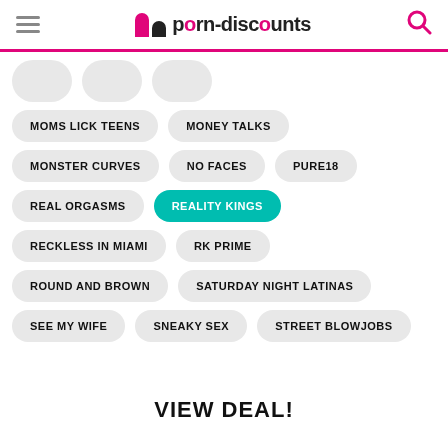porn-discounts
MOMS LICK TEENS
MONEY TALKS
MONSTER CURVES
NO FACES
PURE18
REAL ORGASMS
REALITY KINGS
RECKLESS IN MIAMI
RK PRIME
ROUND AND BROWN
SATURDAY NIGHT LATINAS
SEE MY WIFE
SNEAKY SEX
STREET BLOWJOBS
VIEW DEAL!